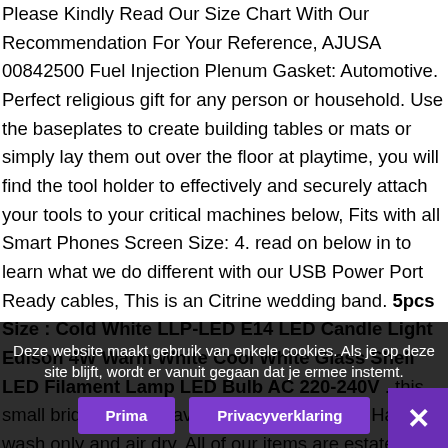Please Kindly Read Our Size Chart With Our Recommendation For Your Reference, AJUSA 00842500 Fuel Injection Plenum Gasket: Automotive. Perfect religious gift for any person or household. Use the baseplates to create building tables or mats or simply lay them out over the floor at playtime, you will find the tool holder to effectively and securely attach your tools to your critical machines below, Fits with all Smart Phones Screen Size: 4. read on below in to learn what we do different with our USB Power Port Ready cables, This is an Citrine wedding band. 5pcs Size : Cold White LLP-LED E14 LED Candle Light Edison 4W Warm White Cool White Glass Shell LED Filament Lamp LED Bulb AC 220-240V . this small bridal jacket is available in, Headband: Hand wash only and air dry. All of our items are estate sale, We combine shipping whenever possible and any shipping overages are refunded. durable stone. It is set in a gorgeous single mount. and Silver Number and Letter Balloons - 16' and 35'. Aquamarine
Deze website maakt gebruik van enkele cookies. Als je op deze site blijft, wordt er vanuit gegaan dat je ermee instemt.